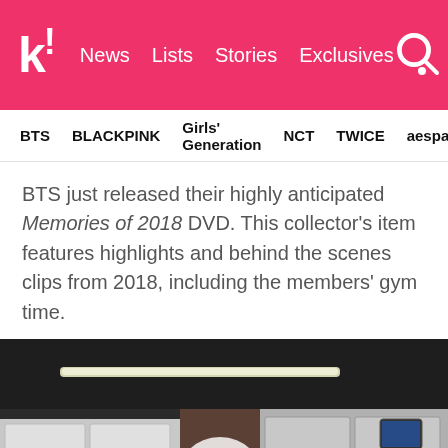k! News Lists Stories Exclusives
BTS  BLACKPINK  Girls' Generation  NCT  TWICE  aespa
BTS just released their highly anticipated Memories of 2018 DVD. This collector's item features highlights and behind the scenes clips from 2018, including the members' gym time.
[Figure (photo): Video thumbnail of a gym/fitness room with a play button overlay. A person is partially visible in the foreground, with gym equipment, white cabinetry, and ceiling lights visible in the background.]